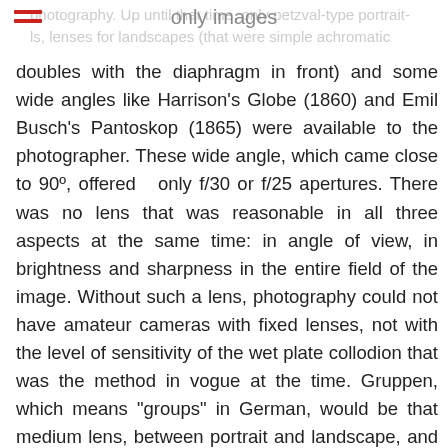photography. Up until that time, only petzval-type portrait- only images ls, lenses for landscapes (that were simple achromatic
doubles with the diaphragm in front) and some wide angles like Harrison’s Globe (1860) and Emil Busch’s Pantoskop (1865) were available to the photographer. These wide angle, which came close to 90º, offered only f/30 or f/25 apertures. There was no lens that was reasonable in all three aspects at the same time: in angle of view, in brightness and sharpness in the entire field of the image. Without such a lens, photography could not have amateur cameras with fixed lenses, not with the level of sensitivity of the wet plate collodion that was the method in vogue at the time. Gruppen, which means “groups” in German, would be that medium lens, between portrait and landscape, and could work in many situations. It would be the long-awaited general-purpose lens.

Photography has always depended on the simultaneous